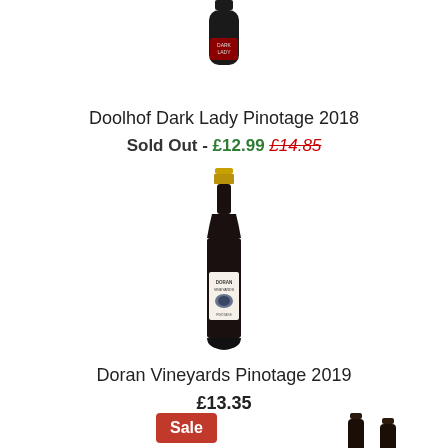[Figure (photo): Wine bottle of Doolhof Dark Lady Pinotage 2018 (top portion visible, dark bottle with red label)]
Doolhof Dark Lady Pinotage 2018
Sold Out - £12.99 £14.85
[Figure (photo): Full wine bottle of Doran Vineyards Pinotage 2019 with gold foil cap and white label]
Doran Vineyards Pinotage 2019
£13.35
Sale
[Figure (photo): Two dark wine bottles partially visible at bottom of page]